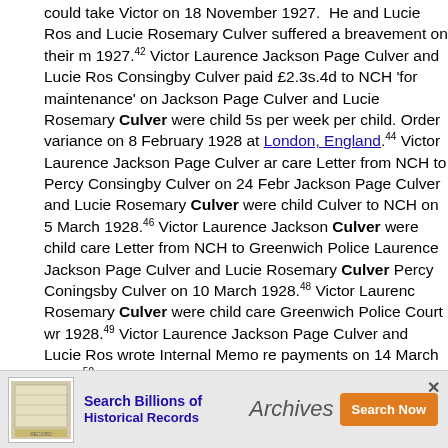could take Victor on 18 November 1927. He and Lucie Ros and Lucie Rosemary Culver suffered a breavement on their m 1927.42 Victor Laurence Jackson Page Culver and Lucie Ros Consingby Culver paid £2.3s.4d to NCH 'for maintenance' on Jackson Page Culver and Lucie Rosemary Culver were child 5s per week per child. Order variance on 8 February 1928 at London, England.44 Victor Laurence Jackson Page Culver ar care Letter from NCH to Percy Consingby Culver on 24 Febr Jackson Page Culver and Lucie Rosemary Culver were child Culver to NCH on 5 March 1928.46 Victor Laurence Jackson Culver were child care Letter from NCH to Greenwich Police Laurence Jackson Page Culver and Lucie Rosemary Culver Percy Coningsby Culver on 10 March 1928.48 Victor Laurenc Rosemary Culver were child care Greenwich Police Court wr 1928.49 Victor Laurence Jackson Page Culver and Lucie Ros wrote Internal Memo re payments on 14 March 1928.50 Victo Lucie Rosemary Culver were child care NCH wrote an Intern 1928.51 Victor Laurence Jackson Page Culver and Lucie Ros sent by NCH to Greenwich Police Court - no payments receiv Laurence Jackson Page Culver and Lucie Rosemary Culver NCH to Greenwich Police Court querying any payments rece 1928.53 Victor Laurence Jackson Page Culver and Lucie Ros Greenwi Police Court and NCH filing d Summons 3s. 8d c n Page were chi their sis
[Figure (other): Advertisement overlay: 'Search Billions of Historical Records' with Archives brand and orange 'Search Now' button]